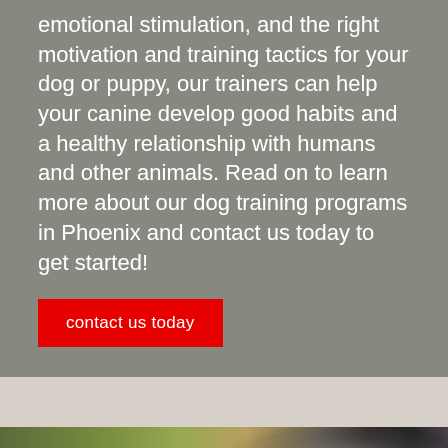emotional stimulation, and the right motivation and training tactics for your dog or puppy, our trainers can help your canine develop good habits and a healthy relationship with humans and other animals. Read on to learn more about our dog training programs in Phoenix and contact us today to get started!
contact us today
[Figure (photo): Outdoor photo showing a person with a dog, blurred background with green foliage]
Call | Email | Contact